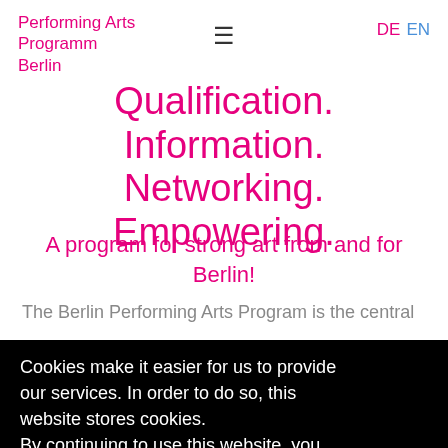Performing Arts Programm Berlin
Qualification. Information. Networking. Empowering.
A program for strong art from and for Berlin!
The Berlin Performing Arts Program is the central
Cookies make it easier for us to provide our services. In order to do so, this website stores cookies.
By continuing to use this website, you